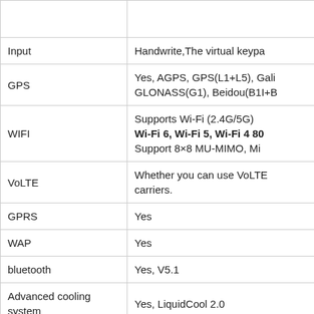| Feature | Details |
| --- | --- |
|  |  |
| Input | Handwrite,The virtual keypa |
| GPS | Yes, AGPS, GPS(L1+L5), Gali
GLONASS(G1), Beidou(B1I+B |
| WIFI | Supports Wi-Fi (2.4G/5G)
Wi-Fi 6, Wi-Fi 5, Wi-Fi 4 80
Support 8×8 MU-MIMO, Mi |
| VoLTE | Whether you can use VoLTE
carriers. |
| GPRS | Yes |
| WAP | Yes |
| bluetooth | Yes, V5.1 |
| Advanced cooling system | Yes, LiquidCool 2.0 |
| Proximity sensor | Yes |
| Gyroscope | Yes |